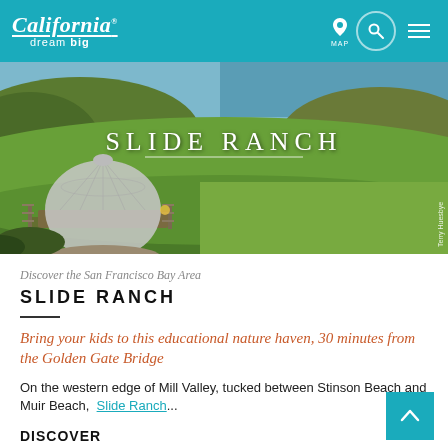California dream big | MAP | [search] [menu]
[Figure (photo): Hero image of Slide Ranch showing a geodesic dome structure on coastal hillside with green grass, ocean in background. Text overlay: SLIDE RANCH. Photo credit: Terry Huesbye]
Discover the San Francisco Bay Area
SLIDE RANCH
Bring your kids to this educational nature haven, 30 minutes from the Golden Gate Bridge
On the western edge of Mill Valley, tucked between Stinson Beach and Muir Beach,  Slide Ranch...
DISCOVER